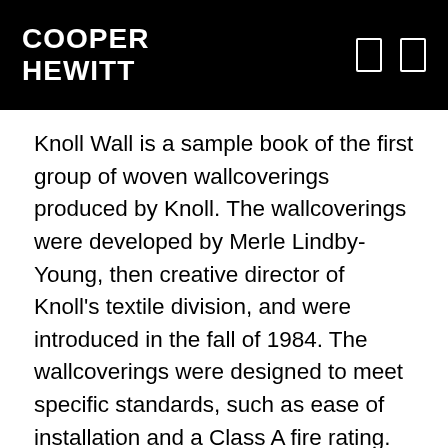COOPER HEWITT
Knoll Wall is a sample book of the first group of woven wallcoverings produced by Knoll. The wallcoverings were developed by Merle Lindby-Young, then creative director of Knoll’s textile division, and were introduced in the fall of 1984. The wallcoverings were designed to meet specific standards, such as ease of installation and a Class A fire rating.
The sample book contains a large swatch of each of the six different designs, along